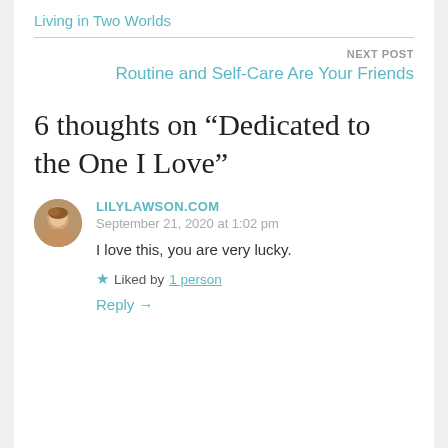Living in Two Worlds
NEXT POST
Routine and Self-Care Are Your Friends
6 thoughts on “Dedicated to the One I Love”
LILYLAWSON.COM
September 21, 2020 at 1:02 pm
I love this, you are very lucky.
★ Liked by 1 person
Reply →